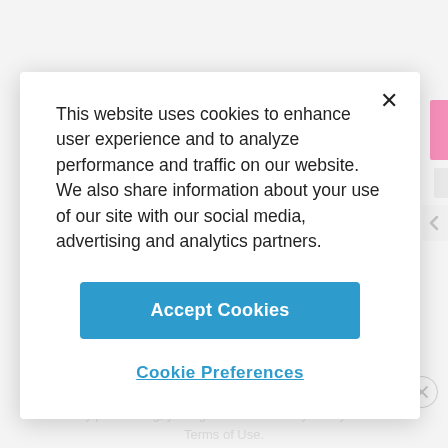This website uses cookies to enhance user experience and to analyze performance and traffic on our website. We also share information about your use of our site with our social media, advertising and analytics partners.
Accept Cookies
Cookie Preferences
ADVERTISEMENT
By proceeding, you agree to our Privacy Policy and Terms of Use.